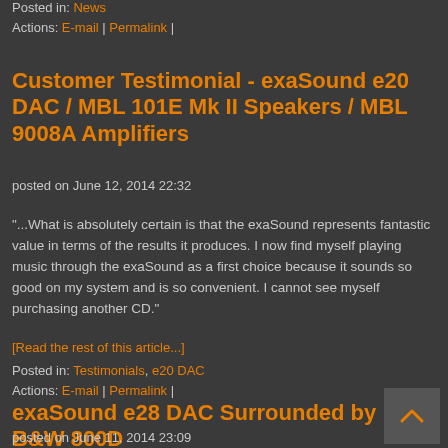Posted in: News
Actions: E-mail | Permalink |
Customer Testimonial - exaSound e20 DAC / MBL 101E Mk II Speakers / MBL 9008A Amplifiers
posted on June 12, 2014 22:32
"...What is absolutely certain is that the exaSound represents fantastic value in terms of the results it produces. I now find myself playing music through the exaSound as a first choice because it sounds so good on my system and is so convenient. I cannot see myself purchasing another CD."
[Read the rest of this article...]
Posted in: Testimonials, e20 DAC
Actions: E-mail | Permalink |
exaSound e28 DAC Surrounded by B&W 800D
posted on June 11, 2014 23:09